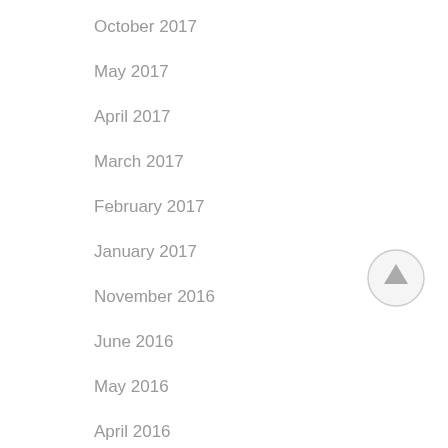October 2017
May 2017
April 2017
March 2017
February 2017
January 2017
November 2016
June 2016
May 2016
April 2016
March 2016
[Figure (illustration): Circular scroll-to-top button with upward arrow, light gray border and gray arrow icon]